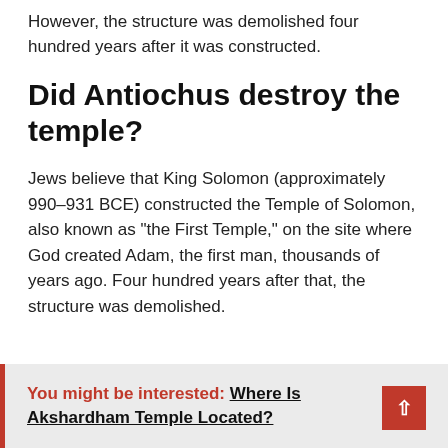However, the structure was demolished four hundred years after it was constructed.
Did Antiochus destroy the temple?
Jews believe that King Solomon (approximately 990–931 BCE) constructed the Temple of Solomon, also known as “the First Temple,” on the site where God created Adam, the first man, thousands of years ago. Four hundred years after that, the structure was demolished.
You might be interested: Where Is Akshardham Temple Located?